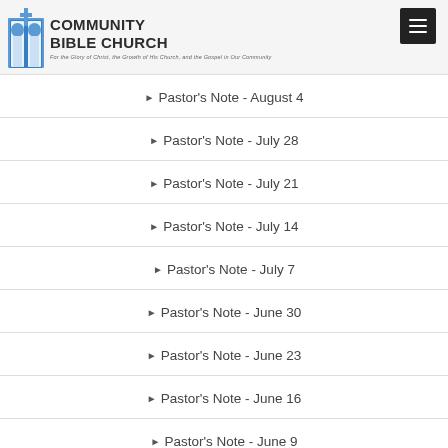Community Bible Church
Pastor's Note - August 4
Pastor's Note - July 28
Pastor's Note - July 21
Pastor's Note - July 14
Pastor's Note - July 7
Pastor's Note - June 30
Pastor's Note - June 23
Pastor's Note - June 16
Pastor's Note - June 9